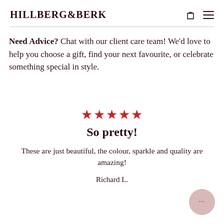HILLBERG&BERK
Need Advice? Chat with our client care team! We'd love to help you choose a gift, find your next favourite, or celebrate something special in style.
★★★★★
So pretty!
These are just beautiful, the colour, sparkle and quality are amazing!
Richard L.